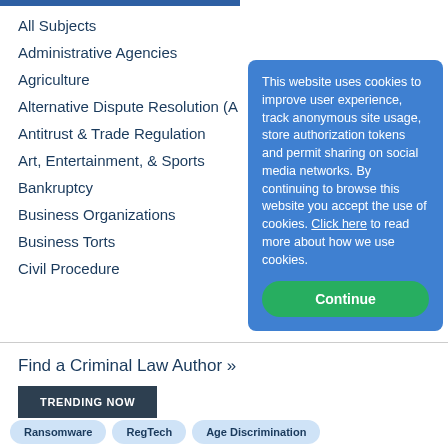All Subjects
Administrative Agencies
Agriculture
Alternative Dispute Resolution (A…
Antitrust & Trade Regulation
Art, Entertainment, & Sports
Bankruptcy
Business Organizations
Business Torts
Civil Procedure
This website uses cookies to improve user experience, track anonymous site usage, store authorization tokens and permit sharing on social media networks. By continuing to browse this website you accept the use of cookies. Click here to read more about how we use cookies.
Continue
Find a Criminal Law Author »
TRENDING NOW
Ransomware
RegTech
Age Discrimination